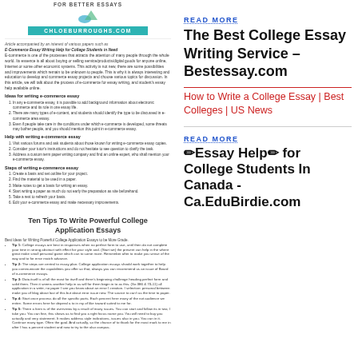[Figure (screenshot): Top banner image with text FOR BETTER ESSAYS and chloe burroughs.com URL bar in teal]
Article accompanied by an interest of various papers such as E-Commerce Essay Writing Help for College Students in Need
E-commerce is one of the processes that attracts the attention of many people through the whole world. Its essence is all about buying or selling service/products/digital goods for anyone online, Internet or some other economic systems. This activity is not new, there are some possibilities and improvements which remain to be unknown to people. This is why it is always interesting and education to develop and commerce essay projects and choose various topics for discussion. In this article, we will talk about the process of e-commerce for essay writing, and student's essay help available online.
Ideas for writing e-commerce essay
In any e-commerce essay, it is possible to add background information about electronic commerce and its role in one essay life.
There are many types of e-content, and students should identify the type to be discussed in e-commerce area essay.
Even if people take care in the conditions under which e-commerce is developed, some threats may bother people, and you should mention this point in e-commerce essay.
Help with writing e-commerce essay
Visit various forums and ask students about those known for writing e-commerce essay copies.
Consider your tutor's instructions and do not hesitate to see question to clarify the task.
Address a custom term paper writing company and find an online expert, who shall mention your e-commerce essay.
Steps of writing e-commerce essay
Create a basis and set outline for your project.
Find the material to be used in a paper.
Make notes to get a basis for writing an essay.
Start writing a paper as much do not early the preparation as site beforehand.
Take a rest to refresh your basis.
Edit your e-commerce essay and make necessary improvements.
READ MORE
The Best College Essay Writing Service – Bestessay.com
How to Write a College Essay | Best Colleges | US News
[Figure (screenshot): Ten Tips To Write Powerful College Application Essays – article screenshot with bullet list tips]
READ MORE
✏Essay Help✏ for College Students In Canada - Ca.EduBirdie.com